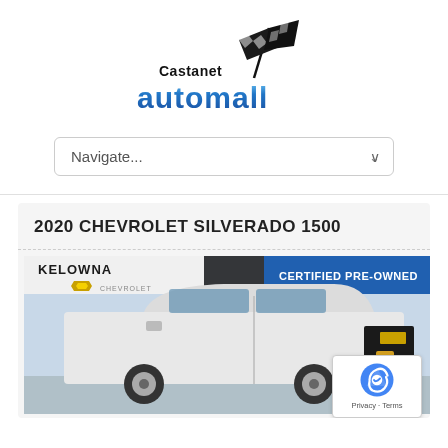[Figure (logo): Castanet Automall logo with checkered racing flags above stylized blue metallic 'automall' text]
Navigate...
2020 CHEVROLET SILVERADO 1500
[Figure (photo): Photo of a white 2020 Chevrolet Silverado 1500 truck at Kelowna Chevrolet, with a Certified Pre-Owned banner at top right]